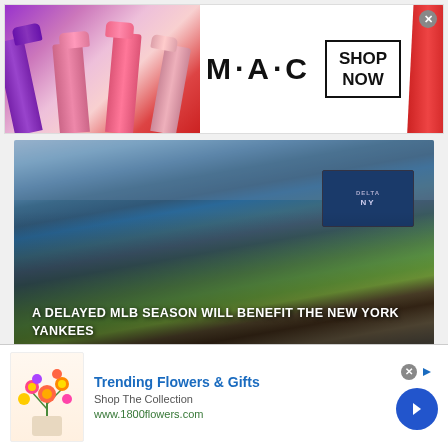[Figure (photo): MAC cosmetics advertisement banner showing lipsticks on left, MAC logo in center, SHOP NOW box on right, red lipstick on far right. Close button top right.]
[Figure (photo): Aerial view of a packed baseball stadium (Yankee Stadium) showing the field, bleachers full of fans, scoreboard with Delta and NY Yankees logos. Article title overlaid: A DELAYED MLB SEASON WILL BENEFIT THE NEW YORK YANKEES. Byline: Quinn Allen, Jul 16, 2020]
A DELAYED MLB SEASON WILL BENEFIT THE NEW YORK YANKEES
Quinn Allen   Jul 16, 2020
[Figure (photo): 1800flowers.com advertisement showing colorful flower bouquet on left, text 'Trending Flowers & Gifts / Shop The Collection / www.1800flowers.com' in center, blue arrow button on right.]